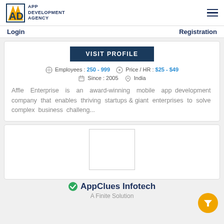APP DEVELOPMENT AGENCY
Login   Registration
VISIT PROFILE
Employees : 250 - 999   Price / HR : $25 - $49   Since : 2005   India
Affle Enterprise is an award-winning mobile app development company that enables thriving startups & giant enterprises to solve complex business challeng...
[Figure (other): Blank white logo placeholder rectangle]
AppClues Infotech
A Finite Solution